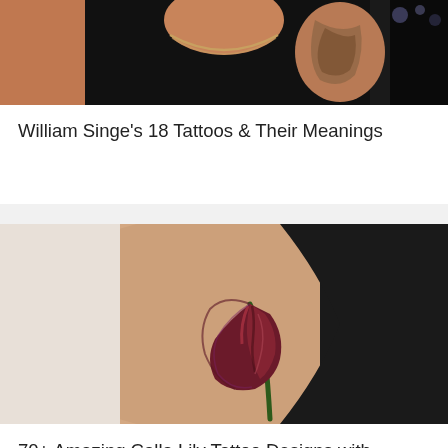[Figure (photo): Cropped photo of a person's torso wearing a dark shirt and necklace, with a visible tattoo on the upper arm/shoulder area, dark background]
William Singe's 18 Tattoos & Their Meanings
[Figure (photo): Close-up photo of a realistic calla lily tattoo in deep purple and dark red tones on a person's arm, with dark background on the right side]
70+ Amazing Calla Lily Tattoo Designs with Meanings, and Ideas